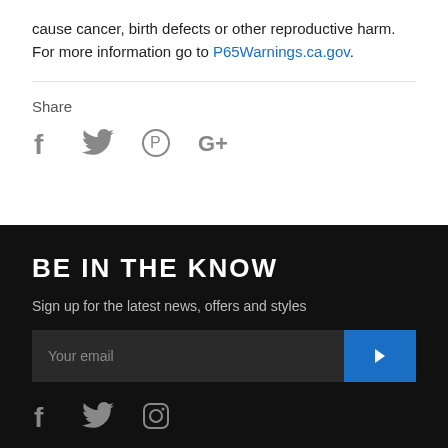cause cancer, birth defects or other reproductive harm. For more information go to P65Warnings.ca.gov.
Share
[Figure (other): Social share icons: Facebook, Twitter, Pinterest, Google+]
BE IN THE KNOW
Sign up for the latest news, offers and styles
[Figure (other): Email signup input field with blue arrow button and placeholder text 'Your email']
[Figure (other): Social media icons on dark background: Facebook, Twitter, Instagram]